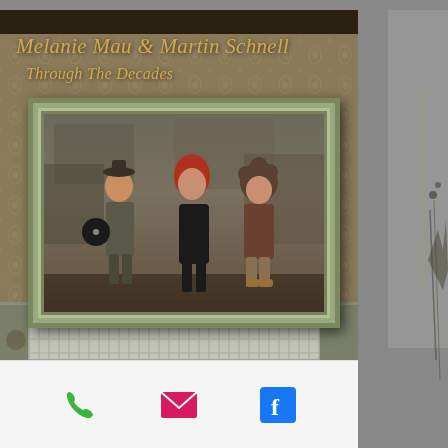[Figure (photo): Album cover for 'Melanie Mau & Martin Schnell - Through The Decades'. Shows a framed photograph of three people (two women and a man) standing posed against a rocky background. The man on the left holds a vinyl record. The image is displayed in an ornate picture frame mounted on a decorative wallpapered wall with a radiator below. The album title text appears in gold italic script above the frame.]
Melanie Mau & Martin Schnell
Through The Decades
[Figure (other): Contact icons row: green phone icon, pink/magenta email envelope icon, blue Facebook icon]